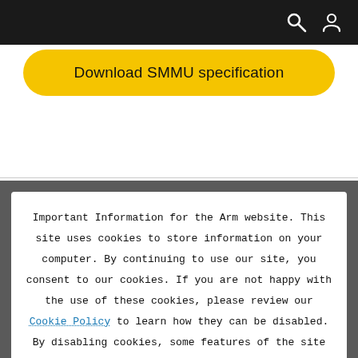[Figure (screenshot): Black top navigation bar with search icon and user/account icon on the right]
Download SMMU specification
Important Information for the Arm website. This site uses cookies to store information on your computer. By continuing to use our site, you consent to our cookies. If you are not happy with the use of these cookies, please review our Cookie Policy to learn how they can be disabled. By disabling cookies, some features of the site will not work.
Accept and hide this message ✕